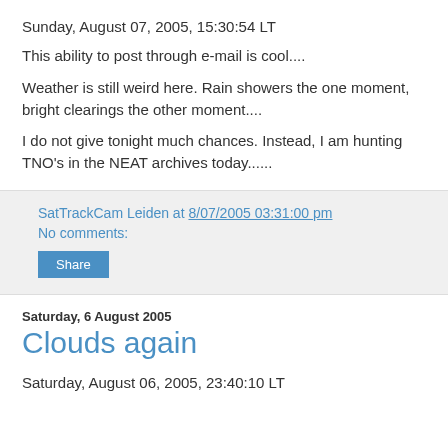Sunday, August 07, 2005, 15:30:54 LT
This ability to post through e-mail is cool....
Weather is still weird here. Rain showers the one moment, bright clearings the other moment....
I do not give tonight much chances. Instead, I am hunting TNO's in the NEAT archives today......
SatTrackCam Leiden at 8/07/2005 03:31:00 pm
No comments:
Share
Saturday, 6 August 2005
Clouds again
Saturday, August 06, 2005, 23:40:10 LT